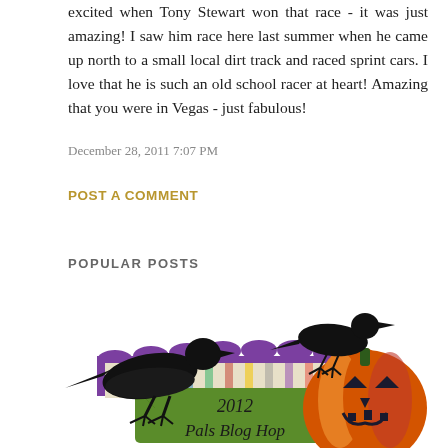excited when Tony Stewart won that race - it was just amazing! I saw him race here last summer when he came up north to a small local dirt track and raced sprint cars. I love that he is such an old school racer at heart! Amazing that you were in Vegas - just fabulous!
December 28, 2011 7:07 PM
POST A COMMENT
POPULAR POSTS
[Figure (illustration): Halloween themed blog hop graphic with two black crow silhouettes, a carved jack-o-lantern pumpkin, colorful scalloped decorative papers, and a green tag reading '2012 Pals Blog Hop' in script font.]